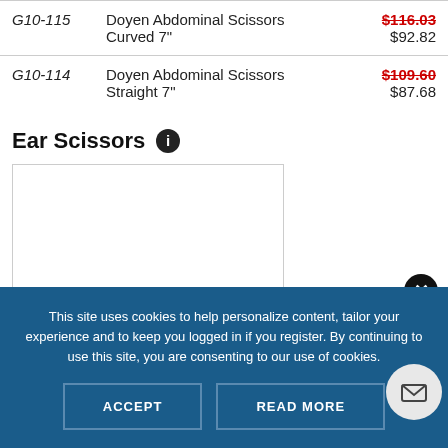| SKU | Product | Price |
| --- | --- | --- |
| G10-115 | Doyen Abdominal Scissors Curved 7" | $116.03 / $92.82 |
| G10-114 | Doyen Abdominal Scissors Straight 7" | $109.60 / $87.68 |
Ear Scissors
[Figure (photo): Product image placeholder box for Ear Scissors]
This site uses cookies to help personalize content, tailor your experience and to keep you logged in if you register. By continuing to use this site, you are consenting to our use of cookies.